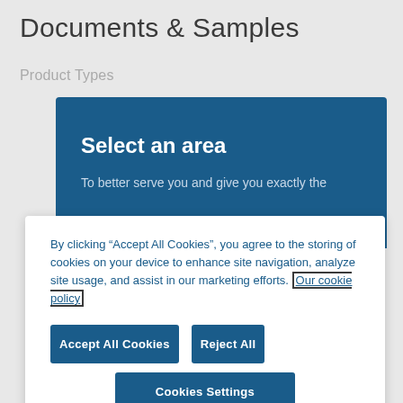Documents & Samples
Product Types
[Figure (screenshot): Blue panel with 'Select an area' heading and partial text 'To better serve you and give you exactly the']
By clicking “Accept All Cookies”, you agree to the storing of cookies on your device to enhance site navigation, analyze site usage, and assist in our marketing efforts. Our cookie policy
Accept All Cookies
Reject All
Cookies Settings